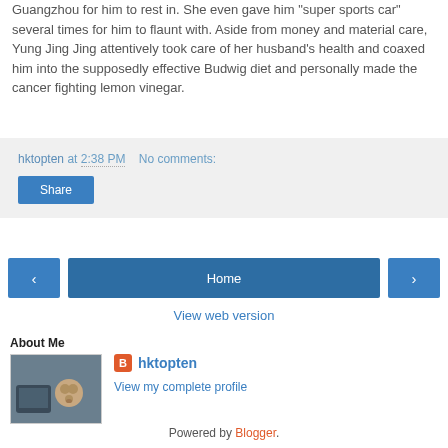Guangzhou for him to rest in. She even gave him "super sports car" several times for him to flaunt with. Aside from money and material care, Yung Jing Jing attentively took care of her husband's health and coaxed him into the supposedly effective Budwig diet and personally made the cancer fighting lemon vinegar.
hktopten at 2:38 PM   No comments:
Share
‹
Home
›
View web version
About Me
[Figure (photo): Profile photo thumbnail showing a teddy bear and laptop]
hktopten
View my complete profile
Powered by Blogger.